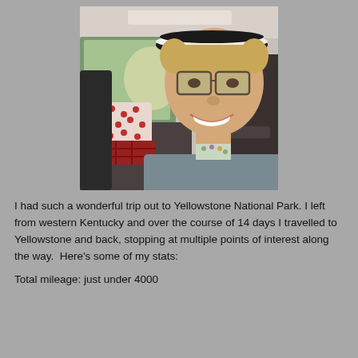[Figure (photo): A woman taking a selfie inside a vehicle. She is wearing a black and white visor cap and large glasses. She has short blonde hair and is wearing a gray sweater with a floral collar. The back seat of the vehicle is visible with polka dot and plaid pillows/blankets.]
I had such a wonderful trip out to Yellowstone National Park. I left from western Kentucky and over the course of 14 days I travelled to Yellowstone and back, stopping at multiple points of interest along the way.  Here's some of my stats:
Total mileage: just under 4000